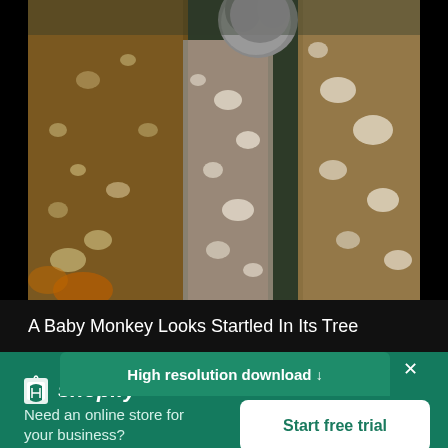[Figure (photo): Close-up photo of a baby monkey clinging to lichen-covered tree branches in a forest setting]
A Baby Monkey Looks Startled In Its Tree
High resolution download ↓
[Figure (logo): Shopify logo — white shopping bag icon with 'shopify' wordmark in white italic text on green background]
Need an online store for your business?
Start free trial